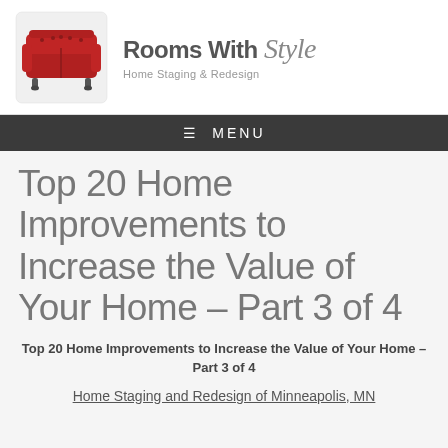[Figure (logo): Rooms With Style logo: red Chesterfield sofa icon on left, brand name 'Rooms With Style Home Staging & Redesign' on right]
≡ MENU
Top 20 Home Improvements to Increase the Value of Your Home – Part 3 of 4
Top 20 Home Improvements to Increase the Value of Your Home – Part 3 of 4
Home Staging and Redesign of Minneapolis, MN